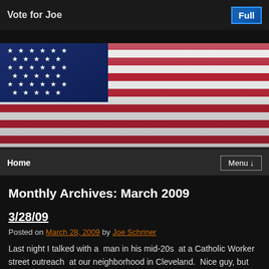Vote for Joe
[Figure (photo): American flag waving, with stars on blue field and red and white stripes]
Home   Menu
Monthly Archives: March 2009
3/28/09
Posted on March 28, 2009 by Joe Schriner
Last night I talked with a  man in his mid-20s  at a Catholic Worker street outreach  at our neighborhood in Cleveland.  Nice guy, but hurting tremendously.   He's currently living in his car and parks in a friend's driveway …
Continue reading →
Posted in Uncategorized